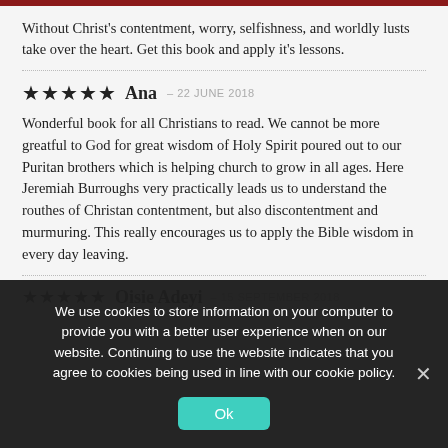Without Christ's contentment, worry, selfishness, and worldly lusts take over the heart. Get this book and apply it's lessons.
★★★★★  Ana  – 22 JUNE 2018
Wonderful book for all Christians to read. We cannot be more greatful to God for great wisdom of Holy Spirit poured out to our Puritan brothers which is helping church to grow in all ages. Here Jeremiah Burroughs very practically leads us to understand the routhes of Christan contentment, but also discontentment and murmuring. This really encourages us to apply the Bible wisdom in every day leaving.
★★★★★  Oisie Adeyi  – 15 SEPTEMBER 2018
We use cookies to store information on your computer to provide you with a better user experience when on our website. Continuing to use the website indicates that you agree to cookies being used in line with our cookie policy.